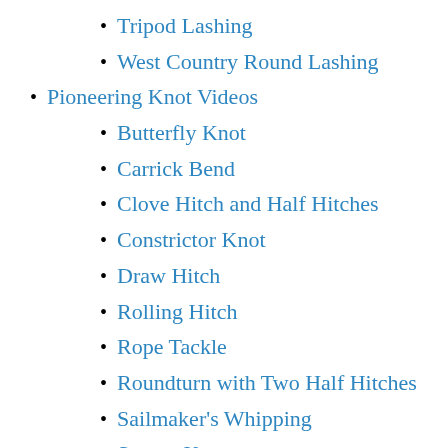Tripod Lashing
West Country Round Lashing
Pioneering Knot Videos
Butterfly Knot
Carrick Bend
Clove Hitch and Half Hitches
Constrictor Knot
Draw Hitch
Rolling Hitch
Rope Tackle
Roundturn with Two Half Hitches
Sailmaker's Whipping
Square Knot
Water Knot
Wednesday
Why Pioneering?